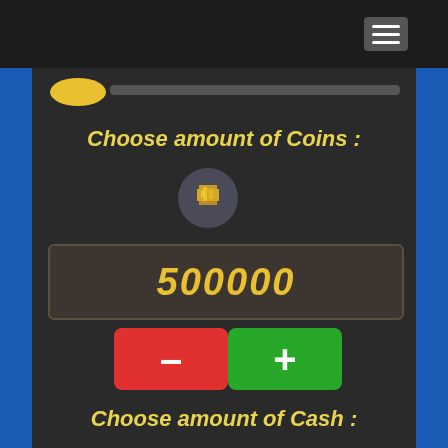[Figure (screenshot): Top navigation bar with hamburger menu icon on dark background]
Choose amount of Coins :
[Figure (illustration): Gold coins icon in a dark circular badge]
500000
[Figure (illustration): Red minus button and green plus button for adjusting coin amount]
Choose amount of Cash :
[Figure (illustration): Cash/money icon in a dark circular badge]